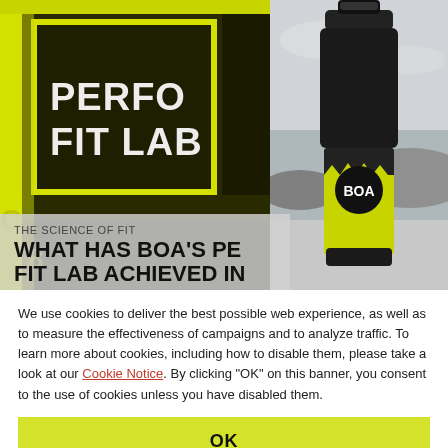[Figure (photo): Left: Yellow-framed gym storefront with 'PERFO FIT LAB' text visible and 'CHAMRO' partially visible. Dark background with yellow neon lighting. Right: Grayscale photo of a black and yellow BOA branded sports water bottle against a coastal landscape background.]
THE SCIENCE OF FIT
WHAT HAS BOA'S PE FIT LAB ACHIEVED IN
We use cookies to deliver the best possible web experience, as well as to measure the effectiveness of campaigns and to analyze traffic. To learn more about cookies, including how to disable them, please take a look at our Cookie Notice. By clicking "OK" on this banner, you consent to the use of cookies unless you have disabled them.
OK